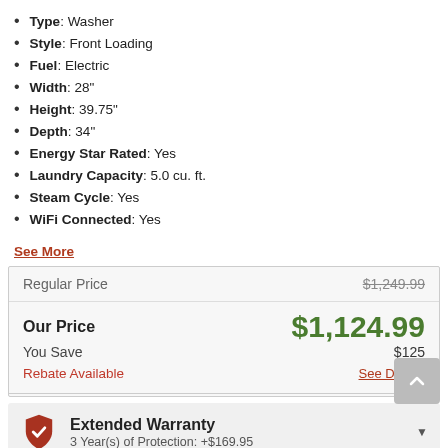Type: Washer
Style: Front Loading
Fuel: Electric
Width: 28"
Height: 39.75"
Depth: 34"
Energy Star Rated: Yes
Laundry Capacity: 5.0 cu. ft.
Steam Cycle: Yes
WiFi Connected: Yes
See More
|  |  |
| --- | --- |
| Regular Price | $1,249.99 |
| Our Price | $1,124.99 |
| You Save | $125 |
| Rebate Available | See Details |
Extended Warranty — 3 Year(s) of Protection: +$169.95
Enter Zip Code *